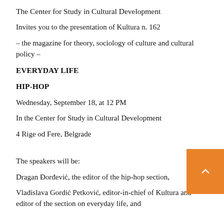The Center for Study in Cultural Development
Invites you to the presentation of Kultura n. 162
– the magazine for theory, sociology of culture and cultural policy –
EVERYDAY LIFE
HIP-HOP
Wednesday, September 18, at 12 PM
In the Center for Study in Cultural Development
4 Rige od Fere, Belgrade
The speakers will be:
Dragan Đorđević, the editor of the hip-hop section,
Vladislava Gordić Petković, editor-in-chief of Kultura and editor of the section on everyday life, and